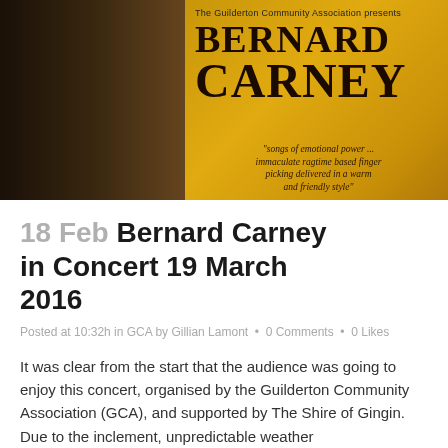[Figure (photo): Concert promotional poster for Bernard Carney presented by The Guilderton Community Association. Shows a man with grey hair and mustache wearing a black shirt on a dark left background, with golden/amber right side displaying 'BERNARD CARNEY' in large serif text and a quote: 'songs of emotional power ... immaculate ragtime based finger picking delivered in a warm and friendly style']
18 Feb Bernard Carney in Concert 19 March 2016
Posted at 10:32h in GCA by Gillian Lamont • 0 Comments • 0 Likes
It was clear from the start that the audience was going to enjoy this concert, organised by the Guilderton Community Association (GCA), and supported by The Shire of Gingin. Due to the inclement, unpredictable weather